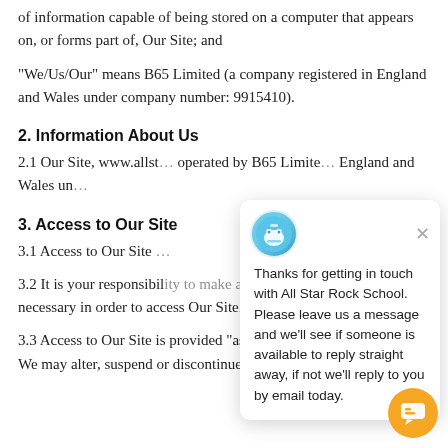of information capable of being stored on a computer that appears on, or forms part of, Our Site; and
“We/Us/Our” means B65 Limited (a company registered in England and Wales under company number: 9915410).
2. Information About Us
2.1 Our Site, www.allst… operated by B65 Limite… England and Wales un…
3. Access to Our Site
3.1 Access to Our Site …
3.2 It is your responsibility to make any and all arrangements necessary in order to access Our Site.
3.3 Access to Our Site is provided “as is” and on an available” basis. We may alter, suspend or discontinue
[Figure (other): Chat popup overlay from All Star Rock School. Shows avatar icon, close button (x), and message: 'Thanks for getting in touch with All Star Rock School. Please leave us a message and we’ll see if someone is available to reply straight away, if not we’ll reply to you by email today.' Orange chat bubble button at bottom right.]